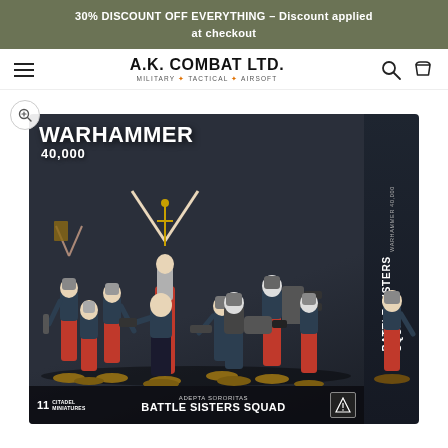30% DISCOUNT OFF EVERYTHING - Discount applied at checkout
[Figure (logo): A.K. Combat Ltd. logo with tagline MILITARY • TACTICAL • AIRSOFT]
[Figure (photo): Warhammer 40,000 Adepta Sororitas Battle Sisters Squad box containing 11 Citadel Miniatures, showing armored female warrior figures with red cloaks and religious iconography on a dark box]